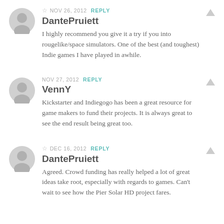☆ NOV 26, 2012  REPLY
DantePruiett
I highly recommend you give it a try if you into rougelike/space simulators. One of the best (and toughest) Indie games I have played in awhile.
NOV 27, 2012  REPLY
VennY
Kickstarter and Indiegogo has been a great resource for game makers to fund their projects. It is always great to see the end result being great too.
☆ DEC 16, 2012  REPLY
DantePruiett
Agreed. Crowd funding has really helped a lot of great ideas take root, especially with regards to games. Can't wait to see how the Pier Solar HD project fares.